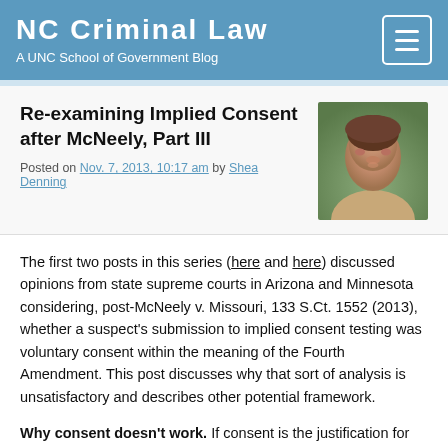NC Criminal Law
A UNC School of Government Blog
Re-examining Implied Consent after McNeely, Part III
Posted on Nov. 7, 2013, 10:17 am by Shea Denning
[Figure (photo): Headshot photo of Shea Denning, a woman with short brown hair, smiling, outdoors]
The first two posts in this series (here and here) discussed opinions from state supreme courts in Arizona and Minnesota considering, post-McNeely v. Missouri, 133 S.Ct. 1552 (2013), whether a suspect's submission to implied consent testing was voluntary consent within the meaning of the Fourth Amendment. This post discusses why that sort of analysis is unsatisfactory and describes other potential framework.
Why consent doesn't work. If consent is the justification for allowing testing under implied consent laws, then